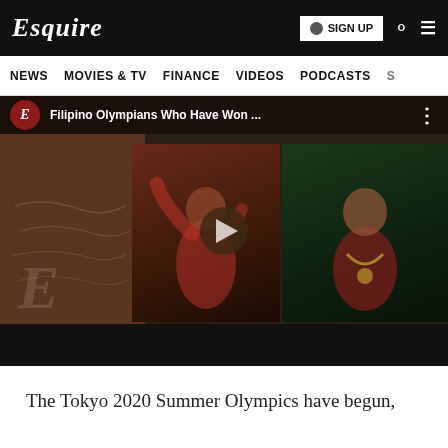Esquire | SIGN UP
NEWS  MOVIES & TV  FINANCE  VIDEOS  PODCASTS  S
[Figure (screenshot): Embedded YouTube video player showing 'Filipino Olympians Who Have Won ...' with a play button overlay, featuring two Filipino athletes — a boxer celebrating and a female athlete with a medal — against a dark brownish background with an Esquire watermark.]
The Tokyo 2020 Summer Olympics have begun,